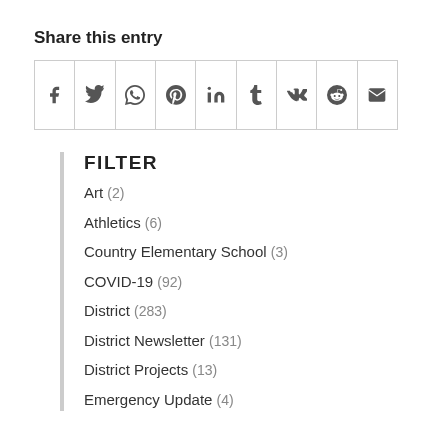Share this entry
[Figure (other): Social share icons row: Facebook, Twitter, WhatsApp, Pinterest, LinkedIn, Tumblr, VK, Reddit, Email]
FILTER
Art (2)
Athletics (6)
Country Elementary School (3)
COVID-19 (92)
District (283)
District Newsletter (131)
District Projects (13)
Emergency Update (4)